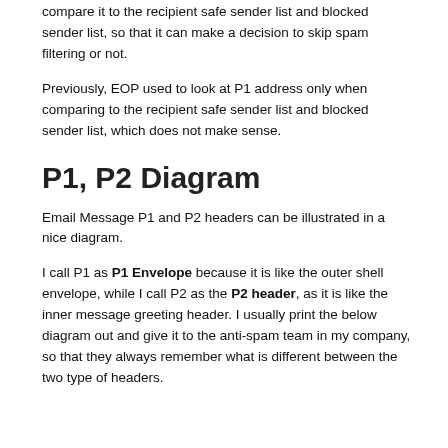compare it to the recipient safe sender list and blocked sender list, so that it can make a decision to skip spam filtering or not.
Previously, EOP used to look at P1 address only when comparing to the recipient safe sender list and blocked sender list, which does not make sense.
P1, P2 Diagram
Email Message P1 and P2 headers can be illustrated in a nice diagram.
I call P1 as P1 Envelope because it is like the outer shell envelope, while I call P2 as the P2 header, as it is like the inner message greeting header. I usually print the below diagram out and give it to the anti-spam team in my company, so that they always remember what is different between the two type of headers.